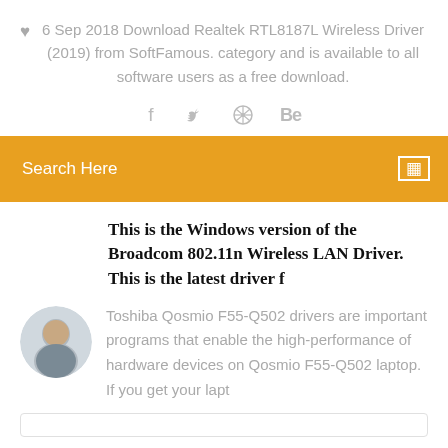6 Sep 2018 Download Realtek RTL8187L Wireless Driver (2019) from SoftFamous. category and is available to all software users as a free download.
[Figure (infographic): Social media share icons: Facebook (f), Twitter (bird), a circular icon, and Behance (Be)]
Search Here
This is the Windows version of the Broadcom 802.11n Wireless LAN Driver. This is the latest driver f
[Figure (photo): Circular avatar photo of a man]
Toshiba Qosmio F55-Q502 drivers are important programs that enable the high-performance of hardware devices on Qosmio F55-Q502 laptop. If you get your lapt